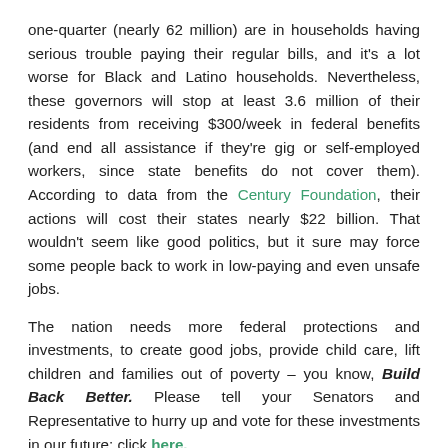one-quarter (nearly 62 million) are in households having serious trouble paying their regular bills, and it's a lot worse for Black and Latino households. Nevertheless, these governors will stop at least 3.6 million of their residents from receiving $300/week in federal benefits (and end all assistance if they're gig or self-employed workers, since state benefits do not cover them). According to data from the Century Foundation, their actions will cost their states nearly $22 billion. That wouldn't seem like good politics, but it sure may force some people back to work in low-paying and even unsafe jobs.
The nation needs more federal protections and investments, to create good jobs, provide child care, lift children and families out of poverty – you know, Build Back Better. Please tell your Senators and Representative to hurry up and vote for these investments in our future: click here.